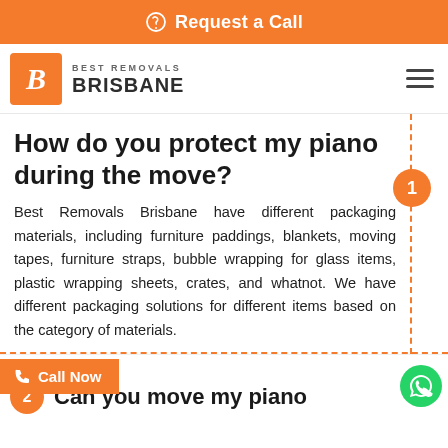Request a Call
[Figure (logo): Best Removals Brisbane logo with orange B icon and brand name]
How do you protect my piano during the move?
Best Removals Brisbane have different packaging materials, including furniture paddings, blankets, moving tapes, furniture straps, bubble wrapping for glass items, plastic wrapping sheets, crates, and whatnot. We have different packaging solutions for different items based on the category of materials.
Can you move my piano